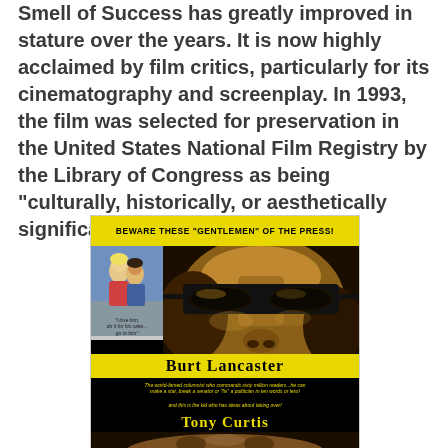Smell of Success has greatly improved in stature over the years. It is now highly acclaimed by film critics, particularly for its cinematography and screenplay. In 1993, the film was selected for preservation in the United States National Film Registry by the Library of Congress as being "culturally, historically, or aesthetically significant."
[Figure (illustration): Movie poster for a film featuring Burt Lancaster and Tony Curtis. Yellow banner at top reads 'BEWARE THESE "GENTLEMEN" OF THE PRESS!'. Small inset image of couple in upper left. Main image shows close-up face with dark glasses. 'BURT LANCASTER' in large yellow serif text on black background, with tagline text. 'TONY CURTIS' in large yellow serif text. Bottom shows partial face.]